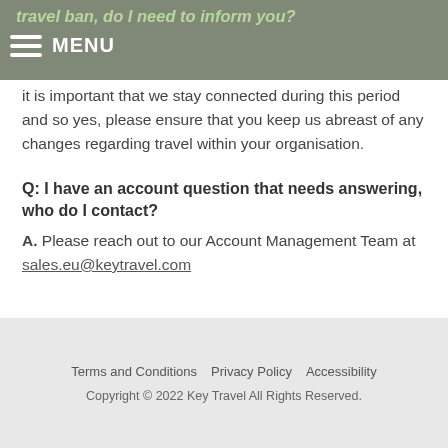travel ban, do I need to inform you? MENU it is important that we stay connected during this period and so yes, please ensure that you keep us abreast of any changes regarding travel within your organisation.
keep us abreast of any changes regarding travel within your organisation.
Q: I have an account question that needs answering, who do I contact?
A. Please reach out to our Account Management Team at sales.eu@keytravel.com
Terms and Conditions  Privacy Policy  Accessibility
Copyright © 2022 Key Travel All Rights Reserved.